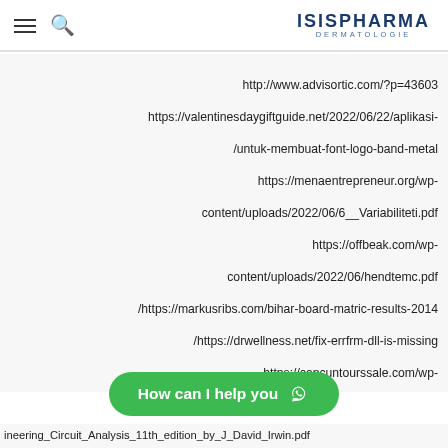ISISPHARMA DERMATOLOGIE
http://www.advisortic.com/?p=43603
https://valentinesdaygiftguide.net/2022/06/22/aplikasi-/untuk-membuat-font-logo-band-metal
https://menaentrepreneur.org/wp-content/uploads/2022/06/6__Variabiliteti.pdf
https://offbeak.com/wp-content/uploads/2022/06/hendtemc.pdf
/https://markusribs.com/bihar-board-matric-results-2014
/https://drwellness.net/fix-errfrm-dll-is-missing
https://cancuntourssale.com/wp-content/uploads/2022/06/blayyala.pdf
https://travelsarkar.com/wp-content/uploads/2022/06/...df
https://...-
ineering_Circuit_Analysis_11th_edition_by_J_David_Irwin.pdf
[Figure (other): Green WhatsApp button: How can I help you]